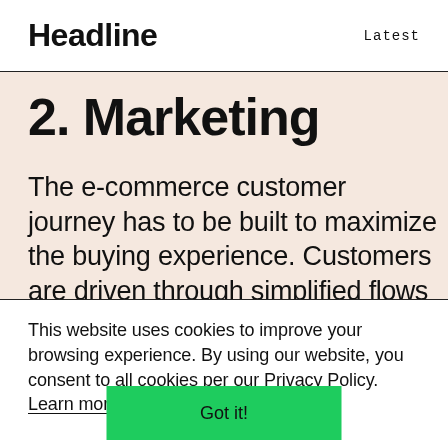Headline   Latest
2. Marketing
The e-commerce customer journey has to be built to maximize the buying experience. Customers are driven through simplified flows with minimal...
This website uses cookies to improve your browsing experience. By using our website, you consent to all cookies per our Privacy Policy. Learn more
Got it!